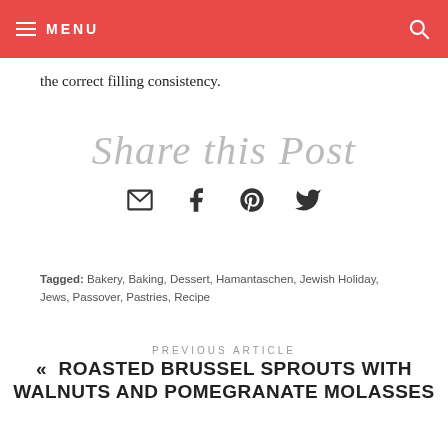MENU
the correct filling consistency.
[Figure (other): Share this Post decorative script heading with social share icons (email, facebook, pinterest, twitter)]
Tagged: Bakery, Baking, Dessert, Hamantaschen, Jewish Holiday, Jews, Passover, Pastries, Recipe
PREVIOUS ARTICLE
« ROASTED BRUSSEL SPROUTS WITH WALNUTS AND POMEGRANATE MOLASSES